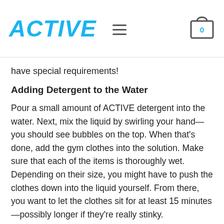ACTIVE
have special requirements!
Adding Detergent to the Water
Pour a small amount of ACTIVE detergent into the water. Next, mix the liquid by swirling your hand—you should see bubbles on the top. When that's done, add the gym clothes into the solution. Make sure that each of the items is thoroughly wet. Depending on their size, you might have to push the clothes down into the liquid yourself. From there, you want to let the clothes sit for at least 15 minutes—possibly longer if they're really stinky.
Pro-tip: Never overload your sink or container. Not